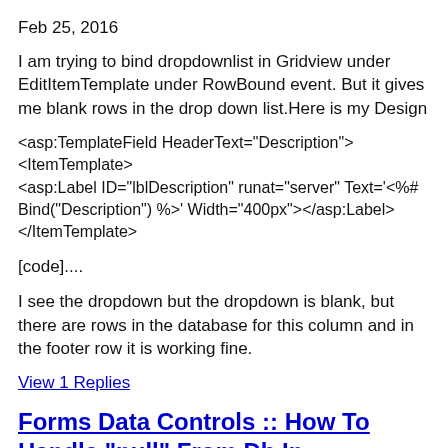Feb 25, 2016
I am trying to bind dropdownlist in Gridview under EditItemTemplate under RowBound event. But it gives me blank rows in the drop down list.Here is my Design
<asp:TemplateField HeaderText="Description">
<ItemTemplate>
<asp:Label ID="lblDescription" runat="server" Text='<%# Bind("Description") %>' Width="400px"></asp:Label>
</ItemTemplate>
[code]....
I see the dropdown but the dropdown is blank, but there are rows in the database for this column and in the footer row it is working fine.
View 1 Replies
Forms Data Controls :: How To Handle "null" From Db In Dropdownlist In Edit Item Template In Detailsview Control